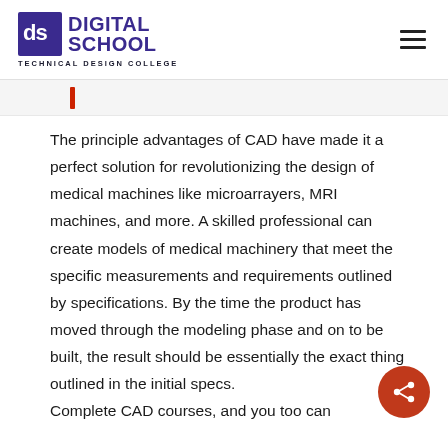Digital School - Technical Design College
The principle advantages of CAD have made it a perfect solution for revolutionizing the design of medical machines like microarrayers, MRI machines, and more. A skilled professional can create models of medical machinery that meet the specific measurements and requirements outlined by specifications. By the time the product has moved through the modeling phase and on to be built, the result should be essentially the exact thing outlined in the initial specs. Complete CAD courses, and you too can